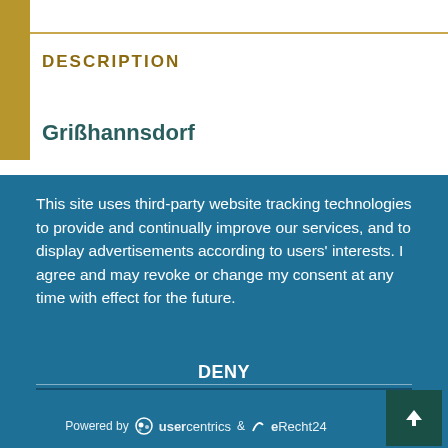DESCRIPTION
Grißhannsdorf
This site uses third-party website tracking technologies to provide and continually improve our services, and to display advertisements according to users' interests. I agree and may revoke or change my consent at any time with effect for the future.
DENY
ACCEPT
MORE
Powered by usercentrics & eRecht24